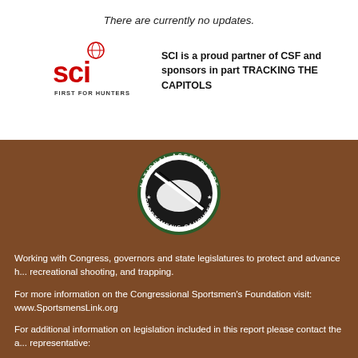There are currently no updates.
[Figure (logo): SCI First For Hunters logo — red bold letters 'sci' with globe icon above, text 'FIRST FOR HUNTERS' below]
SCI is a proud partner of CSF and sponsors in part TRACKING THE CAPITOLS
[Figure (logo): National Assembly of Sportsmen's Caucuses circular seal with rifle and US map silhouette]
Working with Congress, governors and state legislatures to protect and advance hunting, recreational shooting, and trapping.

For more information on the Congressional Sportsmen's Foundation visit: www.SportsmensLink.org

For additional information on legislation included in this report please contact the appropriate representative:

Senior Director, Northeastern States Brent Miller, at 202-543-6850 x13, or brent@